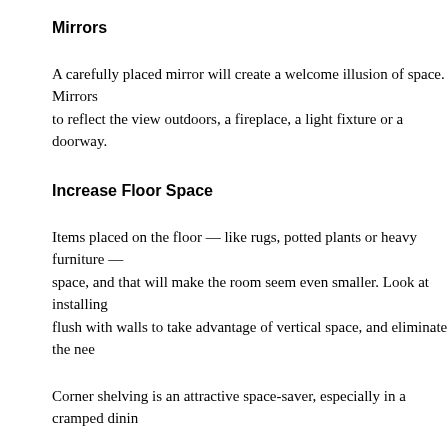Mirrors
A carefully placed mirror will create a welcome illusion of space.  Mirrors to reflect the view outdoors, a fireplace, a light fixture or a doorway.
Increase Floor Space
Items placed on the floor — like rugs, potted plants or heavy furniture — space, and that will make the room seem even smaller.  Look at installing flush with walls to take advantage of vertical space, and eliminate the nee
Corner shelving is an attractive space-saver, especially in a cramped dinin
Shelving in closets also creates a sense of expanse and eliminates clutter, w appealing and more organized.
Lighting
Proper lighting makes a significant difference between cozy, and cave-like unit, well-placed, upgraded lighting fixtures may be well worth the invest